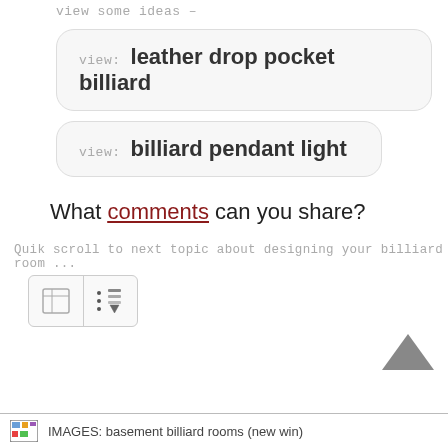view some ideas –
view: leather drop pocket billiard
view: billiard pendant light
What comments can you share?
Quik scroll to next topic about designing your billiard room ...
[Figure (screenshot): Two icon buttons in a rounded box: a table/grid icon and a scroll/download icon with dotted line]
[Figure (illustration): Back to top caret/chevron arrow icon]
IMAGES: basement billiard rooms (new win)